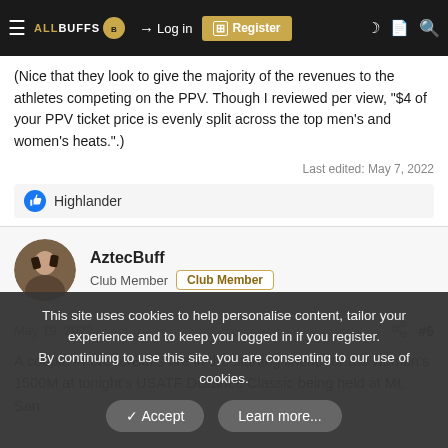AllBuffs navigation bar with Log in and Register buttons
(Nice that they look to give the majority of the revenues to the athletes competing on the PPV. Though I reviewed per view, "$4 of your PPV ticket price is evenly split across the top men's and women's heats.".)
Last edited: May 7, 2022
Highlander
AztecBuff
Club Member  Club Member
May 19, 2022  #6
A couple #ForeverBuffs are in the starting lineup for the women's 1500M at tonight's USATF Distance Classic being held at Mt. San
This site uses cookies to help personalise content, tailor your experience and to keep you logged in if you register.
By continuing to use this site, you are consenting to our use of cookies.
Accept  Learn more...